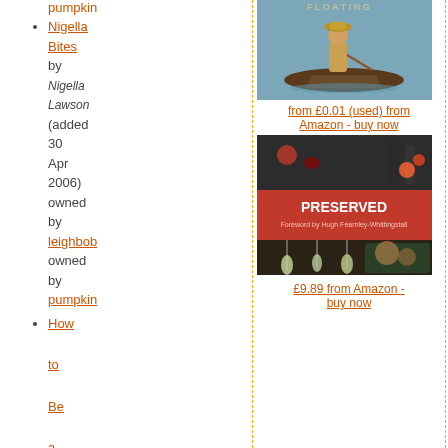pumpkin
Nigella Bites by Nigella Lawson (added 30 Apr 2006) owned by leighbob owned by pumpkin
[Figure (photo): Photo of person in a boat on water]
from £0.01 (used) from Amazon - buy now
[Figure (photo): Book cover of Preserved]
£9.89 from Amazon - buy now
How to Be a Domestic